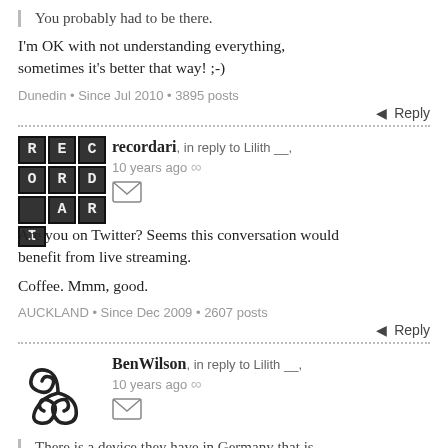You probably had to be there.
I'm OK with not understanding everything, sometimes it's better that way! ;-)
Dunedin • Since Jul 2010 • 3895 posts
Reply
recordari, in reply to Lilith __, 10 years ago
Are you on Twitter? Seems this conversation would benefit from live streaming.
Coffee. Mmm, good.
AUCKLAND • Since Dec 2009 • 2607 posts
Reply
BenWilson, in reply to Lilith __, 10 years ago
There is a device they have in Germany that is